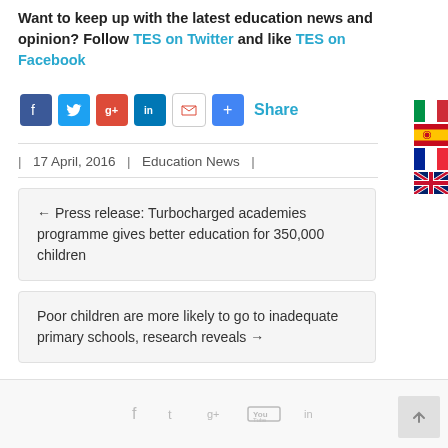Want to keep up with the latest education news and opinion? Follow TES on Twitter and like TES on Facebook
[Figure (infographic): Social share icons: Facebook, Twitter, Google+, LinkedIn, Gmail, Add — followed by Share text link]
| 17 April, 2016 | Education News |
← Press release: Turbocharged academies programme gives better education for 350,000 children
Poor children are more likely to go to inadequate primary schools, research reveals →
[Figure (infographic): Footer social icons: Facebook, Twitter, Google+, YouTube, LinkedIn, and a back-to-top arrow button]